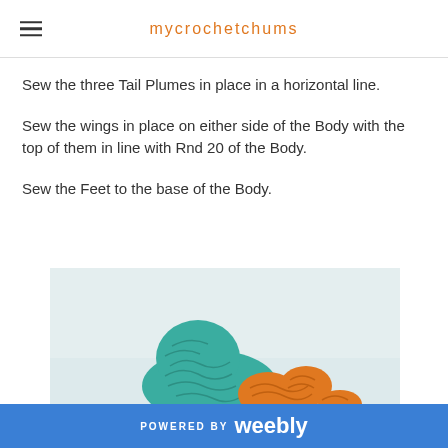mycrochetchums
Sew the three Tail Plumes in place in a horizontal line.
Sew the wings in place on either side of the Body with the top of them in line with Rnd 20 of the Body.
Sew the Feet to the base of the Body.
[Figure (photo): A crocheted bird in teal/green with orange feet visible at the bottom of the frame, against a light blue-grey background.]
POWERED BY weebly